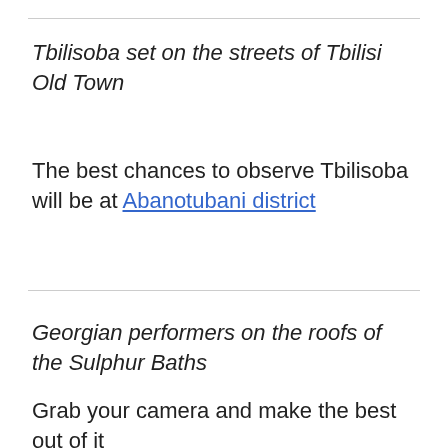Tbilisoba set on the streets of Tbilisi Old Town
The best chances to observe Tbilisoba will be at Abanotubani district
Georgian performers on the roofs of the Sulphur Baths
Grab your camera and make the best out of it